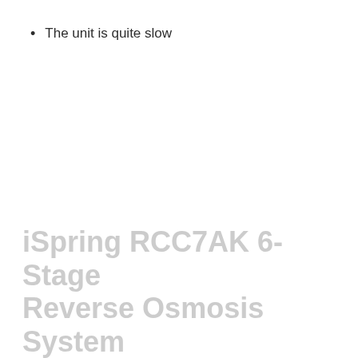The unit is quite slow
Wastewater volume is rather high at a 1:3 ratio
iSpring RCC7AK 6-Stage Reverse Osmosis System